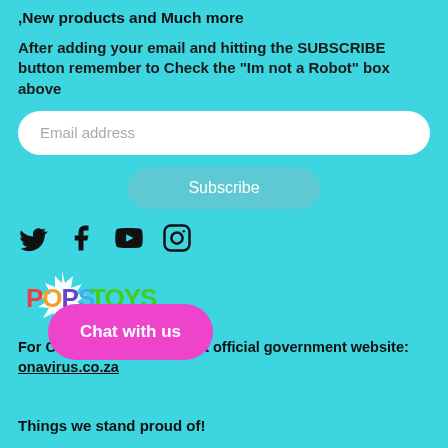,New products and Much more
After adding your email and hitting the SUBSCRIBE button remember to Check the "Im not a Robot" box above
[Figure (screenshot): Email address input field (white rounded rectangle with placeholder text 'Email address')]
[Figure (screenshot): Subscribe button (teal/cyan rounded button with white text 'Subscribe')]
[Figure (screenshot): Social media icons: Twitter (bird), Facebook (f), YouTube (play button), Instagram (camera outline)]
[Figure (logo): POPS TOYS logo with starburst/explosion background. 'POPS' in colored letters and 'TOYS' in green.]
For COVID-19 updates, visit official government website: coronavirus.co.za
[Figure (screenshot): Pink 'Chat with us' button overlay]
Things we stand proud of!